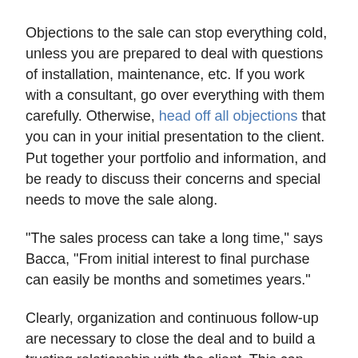Objections to the sale can stop everything cold, unless you are prepared to deal with questions of installation, maintenance, etc. If you work with a consultant, go over everything with them carefully. Otherwise, head off all objections that you can in your initial presentation to the client. Put together your portfolio and information, and be ready to discuss their concerns and special needs to move the sale along.
"The sales process can take a long time," says Bacca, "From initial interest to final purchase can easily be months and sometimes years."
Clearly, organization and continuous follow-up are necessary to close the deal and to build a trusting relationship with the client. This can lead to multiple and repeat sales for the artist – and a corporate client to list as a collector.